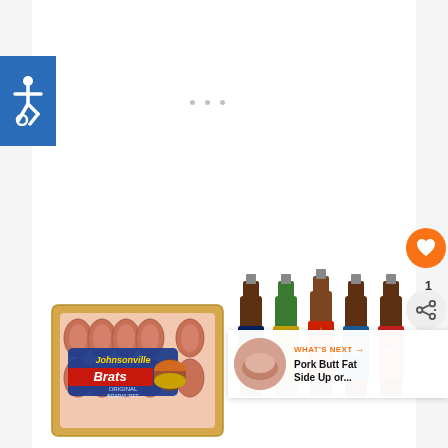[Figure (screenshot): Accessibility (wheelchair) icon in blue square box in top-left area]
[Figure (photo): Johnsonville Brats Original Bratwurst package — a tray of linked sausages in retail packaging with blue and red label]
[Figure (photo): Five beer bottles standing side by side: Samuel Adams, Dos Equis (green), Sierra Nevada, Blue Moon, and another red-labeled beer]
[Figure (screenshot): Orange heart/favorite button icon (circle with heart symbol), number 1, and share button below]
WHAT'S NEXT →
Pork Butt Fat Side Up or...